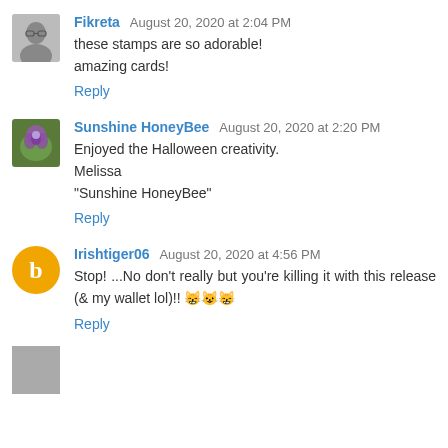Fikreta August 20, 2020 at 2:04 PM
these stamps are so adorable!
amazing cards!
Reply
Sunshine HoneyBee August 20, 2020 at 2:20 PM
Enjoyed the Halloween creativity.
Melissa
"Sunshine HoneyBee"
Reply
Irishtiger06 August 20, 2020 at 4:56 PM
Stop! ...No don't really but you're killing it with this release (& my wallet lol)!! 😸😺😸
Reply